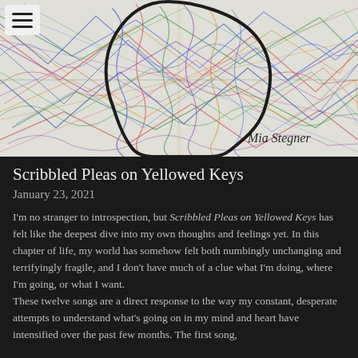[Figure (illustration): Colorful scribbled crayon/pencil lines covering the background with a bold black outline shape of a head/face profile in the center. Text 'Mia Stegner' in handwritten style at lower right.]
Scribbled Pleas on Yellowed Keys
January 23, 2021
I'm no stranger to introspection, but Scribbled Pleas on Yellowed Keys has felt like the deepest dive into my own thoughts and feelings yet. In this chapter of life, my world has somehow felt both numbingly unchanging and terrifyingly fragile, and I don't have much of a clue what I'm doing, where I'm going, or what I want.
These twelve songs are a direct response to the way my constant, desperate attempts to understand what's going on in my mind and heart have intensified over the past few months. The first song,